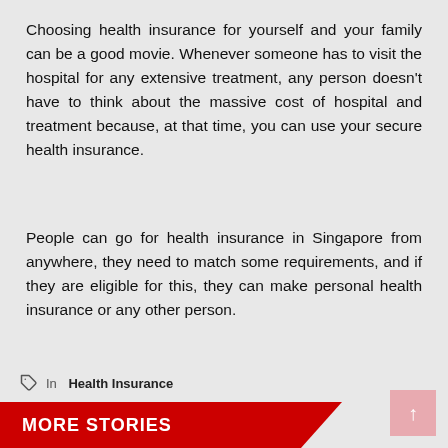Choosing health insurance for yourself and your family can be a good movie. Whenever someone has to visit the hospital for any extensive treatment, any person doesn't have to think about the massive cost of hospital and treatment because, at that time, you can use your secure health insurance.
People can go for health insurance in Singapore from anywhere, they need to match some requirements, and if they are eligible for this, they can make personal health insurance or any other person.
In  Health Insurance
MORE STORIES